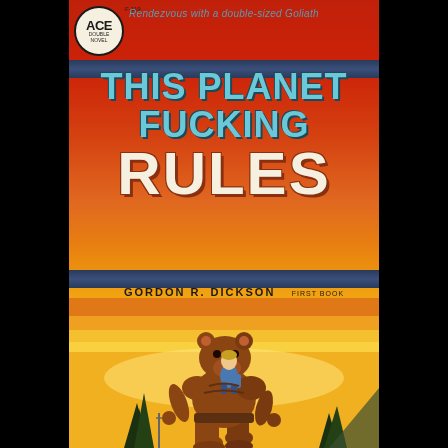[Figure (illustration): Vintage Ace Double Novel paperback book cover. Catalog number F-119, price 40 cents. Features a large bear-like creature walking upright with a human rider on its back. Red-orange gradient background with horizontal yellow/orange stripes representing a sunset sky. Dark blue banner bars frame the title area. Pine trees and mountains visible in lower background.]
Rendezvous with a double-sized Goliath
THIS PLANET FUCKING RULES
GORDON R. DICKSON    FIRST BOOK PUBLICATION